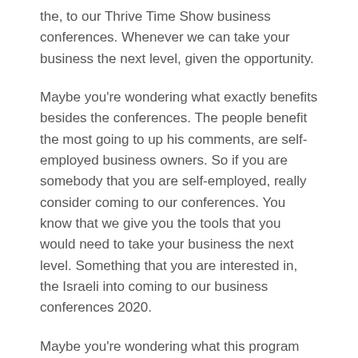the, to our Thrive Time Show business conferences. Whenever we can take your business the next level, given the opportunity.
Maybe you're wondering what exactly benefits besides the conferences. The people benefit the most going to up his comments, are self-employed business owners. So if you are somebody that you are self-employed, really consider coming to our conferences. You know that we give you the tools that you would need to take your business the next level. Something that you are interested in, the Israeli into coming to our business conferences 2020.
Maybe you're wondering what this program actually offers.That we had teach a specific steps assistance to grow your business. So if you are looking to grow your business like this, you should come to our business conferences 2020. You can learn the proven step-by-step processes and systems that you will need to start and